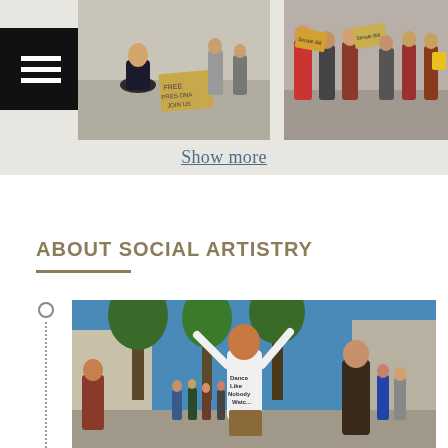[Figure (photo): Two photos side by side at top: left photo shows a person in a suit sitting cross-legged holding a cardboard sign; right photo shows a group of people holding protest signs]
Show more
ABOUT SOCIAL ARTISTRY
[Figure (photo): Large photo of a young man with arms raised dancing in an outdoor street/plaza setting, with a crowd behind him, trees visible]